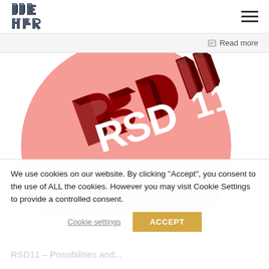[Figure (logo): 3D isometric block letter logo in dark gray/slate color]
[Figure (other): Hamburger menu icon (three horizontal lines)]
Read more
[Figure (illustration): RSD11 3D isometric logo text on a salmon/coral pink circular background]
We use cookies on our website. By clicking "Accept", you consent to the use of ALL the cookies. However you may visit Cookie Settings to provide a controlled consent.
Cookie settings
ACCEPT
RSD11 – Possibilities and...